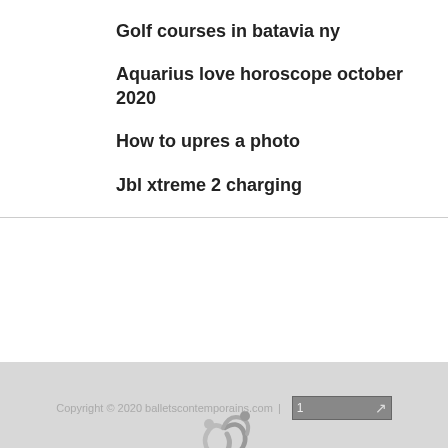Golf courses in batavia ny
Aquarius love horoscope october 2020
How to upres a photo
Jbl xtreme 2 charging
[Figure (logo): MakSports logo — stylized athletic figures in grey, with text 'MakSports' and 'all about Sports']
Copyright © 2020 balletscontemporains.com | 1 [arrow button]